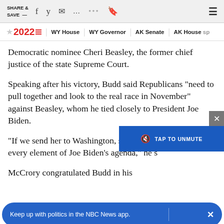SHARE & SAVE —  [social icons toolbar]
☆2022≡ | WY House | WY Governor | AK Senate | AK House sp
Democratic nominee Cheri Beasley, the former chief justice of the state Supreme Court.
Speaking after his victory, Budd said Republicans "need to pull together and look to the real race in November" against Beasley, whom he tied closely to President Joe Biden.
"If we send her to Washington, she will enable every element of Joe Biden's agenda," he said.
McCrory congratulated Budd in his
"Tonight, we lost fair and square," McCrory said. "That's